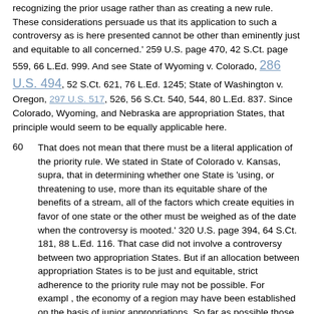recognizing the prior usage rather than as creating a new rule. These considerations persuade us that its application to such a controversy as is here presented cannot be other than eminently just and equitable to all concerned.' 259 U.S. page 470, 42 S.Ct. page 559, 66 L.Ed. 999. And see State of Wyoming v. Colorado, 286 U.S. 494, 52 S.Ct. 621, 76 L.Ed. 1245; State of Washington v. Oregon, 297 U.S. 517, 526, 56 S.Ct. 540, 544, 80 L.Ed. 837. Since Colorado, Wyoming, and Nebraska are appropriation States, that principle would seem to be equally applicable here.
60  That does not mean that there must be a literal application of the priority rule. We stated in State of Colorado v. Kansas, supra, that in determining whether one State is 'using, or threatening to use, more than its equitable share of the benefits of a stream, all of the factors which create equities in favor of one state or the other must be weighed as of the date when the controversy is mooted.' 320 U.S. page 394, 64 S.Ct. 181, 88 L.Ed. 116. That case did not involve a controversy between two appropriation States. But if an allocation between appropriation States is to be just and equitable, strict adherence to the priority rule may not be possible. For exampl , the economy of a region may have been established on the basis of junior appropriations. So far as possible those established uses should be protected though strict application of the priority rule might